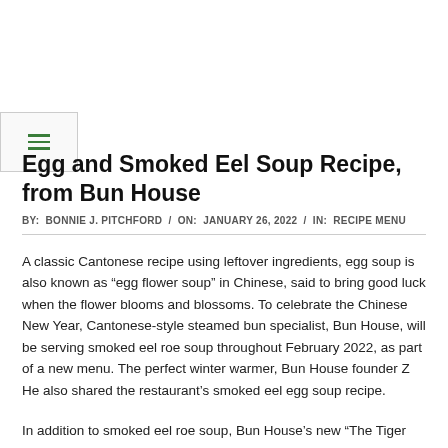Egg and Smoked Eel Soup Recipe, from Bun House
BY: BONNIE J. PITCHFORD / ON: JANUARY 26, 2022 / IN: RECIPE MENU
A classic Cantonese recipe using leftover ingredients, egg soup is also known as “egg flower soup” in Chinese, said to bring good luck when the flower blooms and blossoms. To celebrate the Chinese New Year, Cantonese-style steamed bun specialist, Bun House, will be serving smoked eel roe soup throughout February 2022, as part of a new menu. The perfect winter warmer, Bun House founder Z He also shared the restaurant’s smoked eel egg soup recipe.
In addition to smoked eel roe soup, Bun House’s new “The Tiger